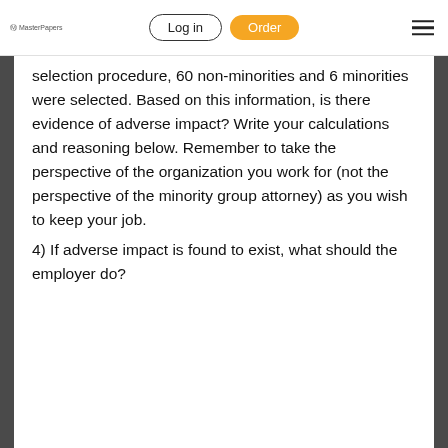MasterPapers | Log in | Order
selection procedure, 60 non-minorities and 6 minorities were selected. Based on this information, is there evidence of adverse impact? Write your calculations and reasoning below. Remember to take the perspective of the organization you work for (not the perspective of the minority group attorney) as you wish to keep your job.
4) If adverse impact is found to exist, what should the employer do?